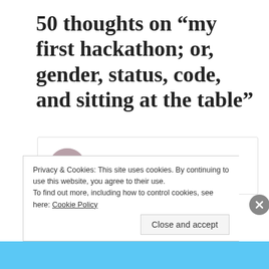50 thoughts on “my first hackathon; or, gender, status, code, and sitting at the table”
[Figure (photo): Circular avatar photo of Miriam Posner, a woman with dark hair, smiling, wearing a pink scarf.]
Miriam Posner
April 6, 2012 at 5:41 pm
Privacy & Cookies: This site uses cookies. By continuing to use this website, you agree to their use.
To find out more, including how to control cookies, see here: Cookie Policy
Close and accept